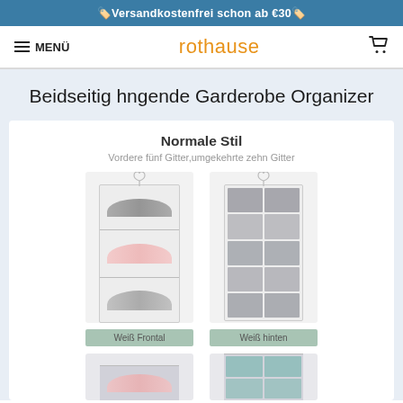🏷️Versandkostenfrei schon ab €30🏷️
≡ MENÜ | rothause | 🛒
Beidseitig hngende Garderobe Organizer
Normale Stil
Vordere fünf Gitter,umgekehrte zehn Gitter
[Figure (photo): Two hanging wardrobe organizers shown front and back - white/grey fabric with compartments for bras and accessories, labeled 'Weiß Frontal' and 'Weiß hinten']
[Figure (photo): Partial view of two darker hanging wardrobe organizers at the bottom of the page]